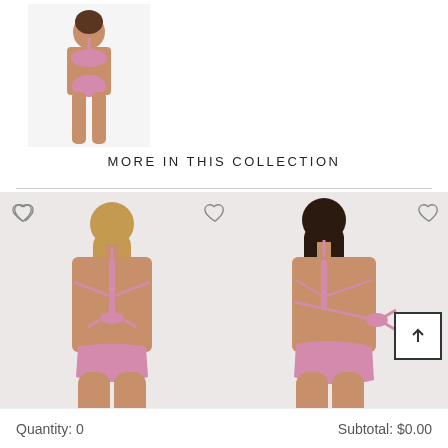[Figure (photo): Small product thumbnail of a pink bikini set shown on a model from the front, positioned in upper left area]
MORE IN THIS COLLECTION
[Figure (photo): Model wearing pink string bikini, shown from the back, with tie-back top and cheeky bottom, brown hair]
[Figure (photo): Model wearing pink halter bikini, shown from the back with dark hair, tie-side bottoms]
Quantity: 0
Subtotal: $0.00